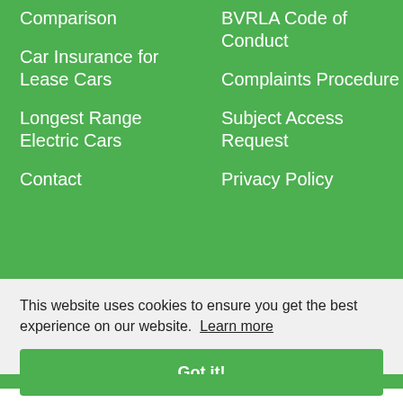Comparison
Car Insurance for Lease Cars
Longest Range Electric Cars
Contact
BVRLA Code of Conduct
Complaints Procedure
Subject Access Request
Privacy Policy
This website uses cookies to ensure you get the best experience on our website. Learn more
Got it!